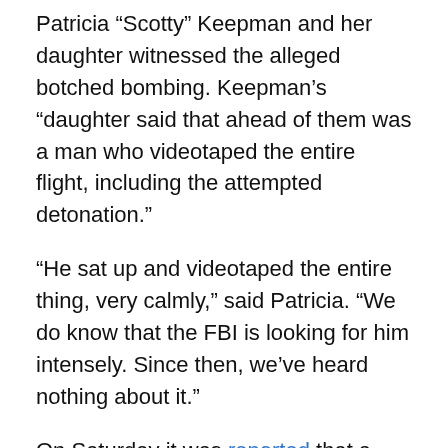Patricia “Scotty” Keepman and her daughter witnessed the alleged botched bombing. Keepman’s “daughter said that ahead of them was a man who videotaped the entire flight, including the attempted detonation.”
“He sat up and videotaped the entire thing, very calmly,” said Patricia. “We do know that the FBI is looking for him intensely. Since then, we’ve heard nothing about it.”
On Saturday it was reported [link] that a “sharp-dressed man” had escorted Umar Farouk Abdul Mutallab when he boarded Northwest Airlines Flight 253 in Amsterdam. Mutallab was allowed on the plane without a passport. It was later reported that Mutallab seemed to be in a trance [link].
The alleged videotaping of the underwear bomber and his...